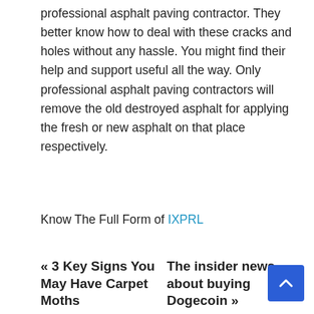professional asphalt paving contractor. They better know how to deal with these cracks and holes without any hassle. You might find their help and support useful all the way. Only professional asphalt paving contractors will remove the old destroyed asphalt for applying the fresh or new asphalt on that place respectively.
Know The Full Form of IXPRL
« 3 Key Signs You May Have Carpet Moths
The insider news about buying Dogecoin »